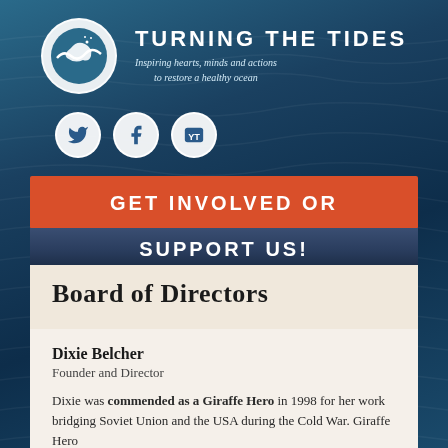[Figure (logo): Turning the Tides organization logo - white circle with dolphin/wave illustration]
TURNING THE TIDES
Inspiring hearts, minds and actions to restore a healthy ocean
[Figure (illustration): Social media icons: Twitter, Facebook, YouTube in white circles]
GET INVOLVED OR
SUPPORT US!
Board of Directors
Dixie Belcher
Founder and Director
Dixie was commended as a Giraffe Hero in 1998 for her work bridging Soviet Union and the USA during the Cold War. Giraffe Hero